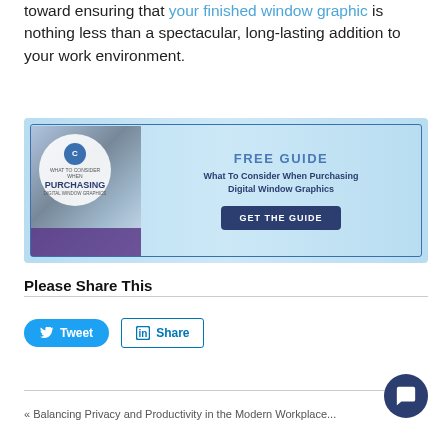toward ensuring that your finished window graphic is nothing less than a spectacular, long-lasting addition to your work environment.
[Figure (infographic): Free Guide promotional banner for 'What To Consider When Purchasing Digital Window Graphics' with a book image on the left and a 'GET THE GUIDE' button on the right.]
Please Share This
[Figure (other): Tweet and LinkedIn Share social media buttons]
[Figure (other): Chat button widget (circular dark blue button with speech bubble icon)]
« Balancing Privacy and Productivity in the Modern Workplace...